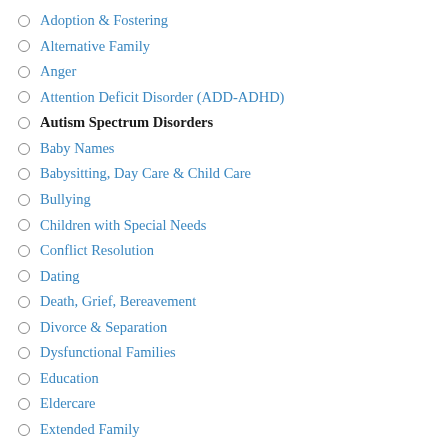Adoption & Fostering
Alternative Family
Anger
Attention Deficit Disorder (ADD-ADHD)
Autism Spectrum Disorders
Baby Names
Babysitting, Day Care & Child Care
Bullying
Children with Special Needs
Conflict Resolution
Dating
Death, Grief, Bereavement
Divorce & Separation
Dysfunctional Families
Education
Eldercare
Extended Family
Family History & Genealogy